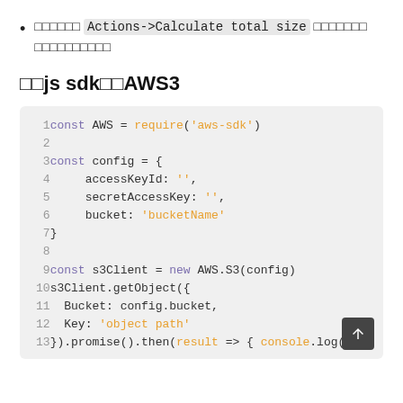□□□□□□ Actions->Calculate total size □□□□□□□ □□□□□□□□□□
□□js sdk□□AWS3
Code block:
1  const AWS = require('aws-sdk')
2
3  const config = {
4       accessKeyId: '',
5       secretAccessKey: '',
6       bucket: 'bucketName'
7  }
8
9  const s3Client = new AWS.S3(config)
10 s3Client.getObject({
11   Bucket: config.bucket,
12   Key: 'object path'
13 }).promise().then(result => { console.log(r